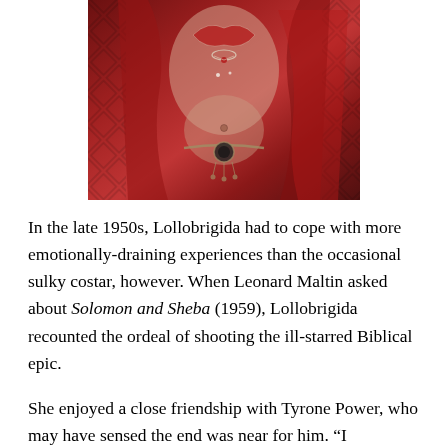[Figure (photo): A woman in red costume/belly dance attire with decorative jewelry and belt, cropped to show torso area, dramatic red tones with diamond-pattern background.]
In the late 1950s, Lollobrigida had to cope with more emotionally-draining experiences than the occasional sulky costar, however. When Leonard Maltin asked about Solomon and Sheba (1959), Lollobrigida recounted the ordeal of shooting the ill-starred Biblical epic.
She enjoyed a close friendship with Tyrone Power, who may have sensed the end was near for him. “I remember one night, it was two o’clock, he called me, and I said, ‘My